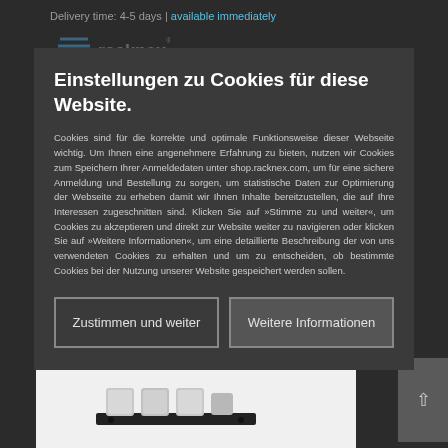Delivery time: 4-5 days | available immediately
[Figure (logo): Racknex logo with blue geometric icon and grey text]
Simulate module...
UM-SBC-202
Einstellungen zu Cookies für diese Website.
Cookies sind für die korrekte und optimale Funktionsweise dieser Webseite wichtig. Um Ihnen eine angenehmere Erfahrung zu bieten, nutzen wir Cookies zum Speichern Ihrer Anmeldedaten unter shop.racknex.com, um für eine sichere Anmeldung und Bestellung zu sorgen, um statistische Daten zur Optimierung der Webseite zu erheben damit wir Ihnen Inhalte bereitzustellen, die auf Ihre Interessen zugeschnitten sind. Klicken Sie auf »Stimme zu und weiter«, um Cookies zu akzeptieren und direkt zur Website weiter zu navigieren oder klicken Sie auf »Weitere Informationen«, um eine detaillierte Beschreibung der von uns verwendeten Cookies zu erhalten und um zu entscheiden, ob bestimmte Cookies bei der Nutzung unserer Website gespeichert werden sollen.
Zustimmen und weiter
Weitere Informationen
Zeige Details
[Figure (photo): Product image showing black metal bracket with grey cube components]